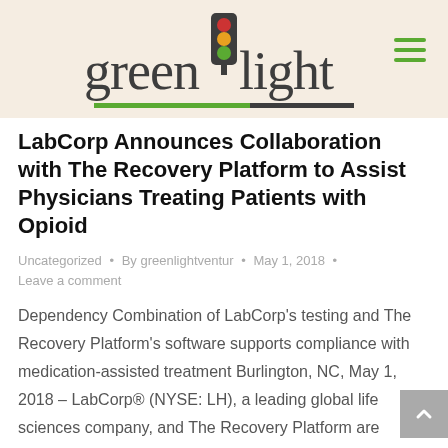greenlight
LabCorp Announces Collaboration with The Recovery Platform to Assist Physicians Treating Patients with Opioid
Uncategorized • By greenlightventur • May 1, 2018 • Leave a comment
Dependency Combination of LabCorp's testing and The Recovery Platform's software supports compliance with medication-assisted treatment Burlington, NC, May 1, 2018 – LabCorp® (NYSE: LH), a leading global life sciences company, and The Recovery Platform are announcing a new collaboration to expand access to medication-assisted treatment.